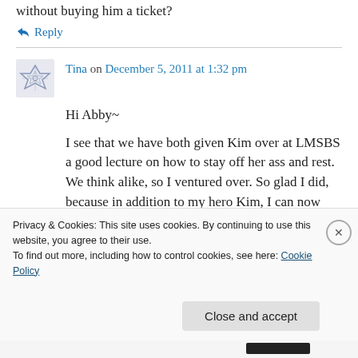without buying him a ticket?
↳ Reply
Tina on December 5, 2011 at 1:32 pm
Hi Abby~
I see that we have both given Kim over at LMSBS a good lecture on how to stay off her ass and rest. We think alike, so I ventured over. So glad I did, because in addition to my hero Kim, I can now visit you for a good belly
Privacy & Cookies: This site uses cookies. By continuing to use this website, you agree to their use. To find out more, including how to control cookies, see here: Cookie Policy
Close and accept